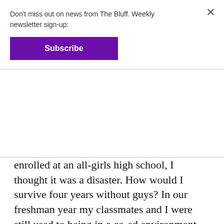Don't miss out on news from The Bluff. Weekly newsletter sign-up:
Subscribe
enrolled at an all-girls high school, I thought it was a disaster. How would I survive four years without guys? In our freshman year my classmates and I were still used to being in a co-ed environment, the majority of us were quiet. The most frequently asked question at orientation was “how can we meet boys?”
By senior year, our need for male approval and getting a boyfriend diminished and our goals became oriented to success.